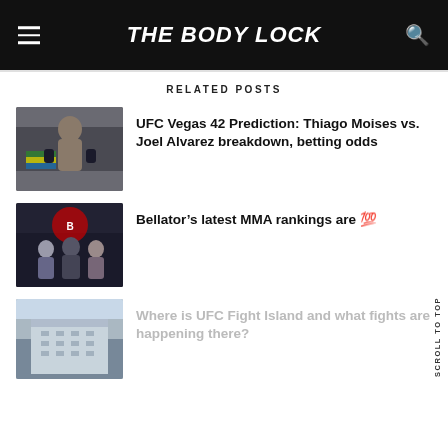THE BODY LOCK
RELATED POSTS
[Figure (photo): MMA fighter holding Brazilian flag, studio pose]
UFC Vegas 42 Prediction: Thiago Moises vs. Joel Alvarez breakdown, betting odds
[Figure (photo): MMA female fighters at Bellator event with referee]
Bellator’s latest MMA rankings are 💯
[Figure (photo): UFC Fight Island aerial view building]
Where is UFC Fight Island and what fights are happening there?